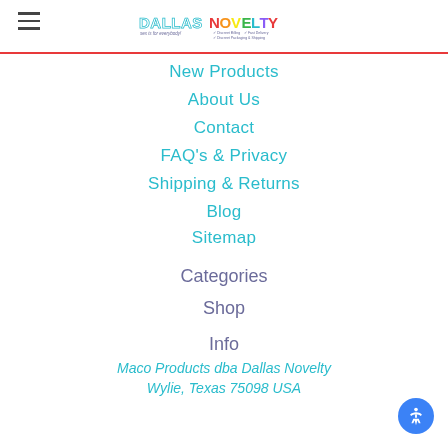Dallas Novelty - sex is for everybody!
New Products
About Us
Contact
FAQ's & Privacy
Shipping & Returns
Blog
Sitemap
Categories
Shop
Info
Maco Products dba Dallas Novelty
Wylie, Texas 75098 USA